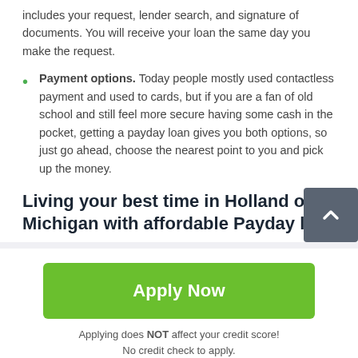includes your request, lender search, and signature of documents. You will receive your loan the same day you make the request.
Payment options. Today people mostly used contactless payment and used to cards, but if you are a fan of old school and still feel more secure having some cash in the pocket, getting a payday loan gives you both options, so just go ahead, choose the nearest point to you and pick up the money.
Living your best time in Holland of Michigan with affordable Payday lo
Apply Now
Applying does NOT affect your credit score!
No credit check to apply.